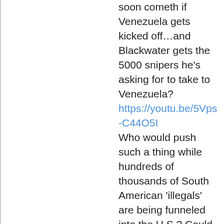soon cometh if Venezuela gets kicked off…and Blackwater gets the 5000 snipers he's asking for to take to Venezuela? https://youtu.be/5Vps-C44O5I Who would push such a thing while hundreds of thousands of South American 'illegals' are being funneled into the U.S.? Could that not be itself …a National Security threat? which then leads to these questions – situations to consider…along with your guest, Kevin Shipp's view about the people need to be leaning to get armed and not allow to be disarmed…if POTUS is refusing to allow the U.S. sovereignty to be challenged by foreign/NWO